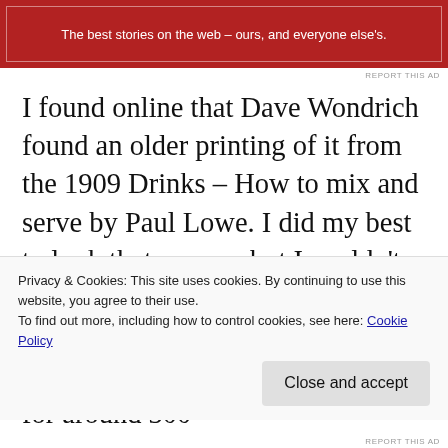[Figure (other): Red advertisement banner with white text: 'The best stories on the web – ours, and everyone else's.' with decorative border]
REPORT THIS AD
I found online that Dave Wondrich found an older printing of it from the 1909 Drinks – How to mix and serve by Paul Lowe. I did my best to look that one up, but I couldn't personally find it anywhere. I found a picture of the book's cover but not the recipe, and copies sell for around 300
Privacy & Cookies: This site uses cookies. By continuing to use this website, you agree to their use.
To find out more, including how to control cookies, see here: Cookie Policy
Close and accept